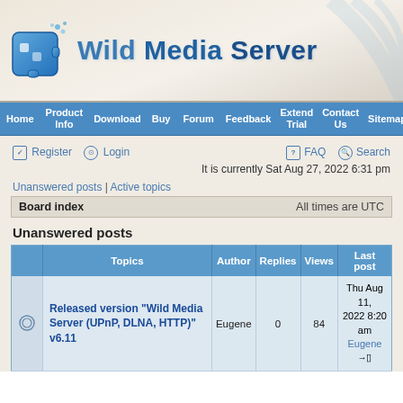[Figure (logo): Wild Media Server logo with blue puzzle-piece icon and brand text]
Home | Product Info | Download | Buy | Forum | Feedback | Extend Trial | Contact Us | Sitemap
Register Login FAQ Search
It is currently Sat Aug 27, 2022 6:31 pm
Unanswered posts | Active topics
| Board index | All times are UTC |
| --- | --- |
Unanswered posts
|  | Topics | Author | Replies | Views | Last post |
| --- | --- | --- | --- | --- | --- |
| [icon] | Released version "Wild Media Server (UPnP, DLNA, HTTP)" v6.11 | Eugene | 0 | 84 | Thu Aug 11, 2022 8:20 am Eugene → |